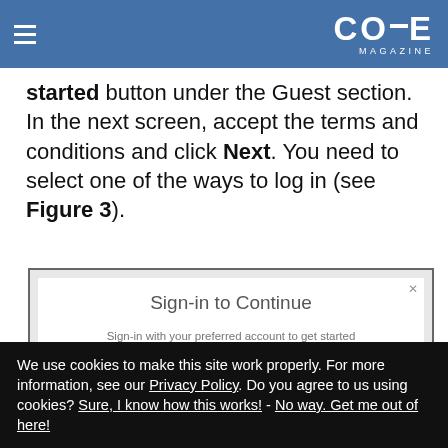CODE Magazine
started button under the Guest section. In the next screen, accept the terms and conditions and click Next. You need to select one of the ways to log in (see Figure 3).
[Figure (screenshot): Screenshot of a 'Sign-in to Continue' dialog with subtitle 'Sign-in with your preferred account to get started' and two buttons (Google and a blue button), with a close X in the top right corner.]
We use cookies to make this site work properly. For more information, see our Privacy Policy. Do you agree to us using cookies? Sure, I know how this works! - No way. Get me out of here!